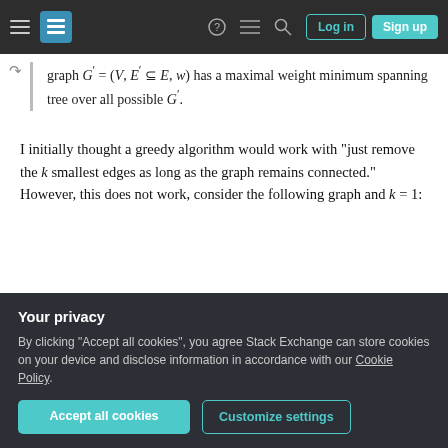Stack Exchange navigation bar with Log in and Sign up buttons
graph G' = (V, E' ⊆ E, w) has a maximal weight minimum spanning tree over all possible G'.
I initially thought a greedy algorithm would work with "just remove the k smallest edges as long as the graph remains connected." However, this does not work, consider the following graph and k = 1:
[Figure (other): Graph diagram showing three nodes A, B, C connected in a line. A-B edge labeled 2, B-C edge labeled 1.]
has weight 12. However, if we remove the edge